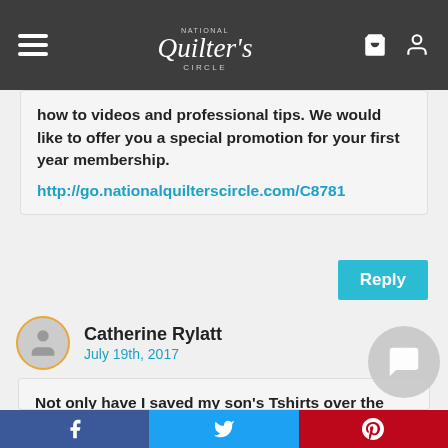National Quilters Circle
how to videos and professional tips. We would like to offer you a special promotion for your first year membership. http://go.nationalquilterscircle.com/C8781
Catherine Rylatt
July 19th, 2017
Not only have I saved my son’s Tshirts over the years of special things but I have also saved material from the different Halloween costumes we have made and material we used to make his First Communion banner. I would dearly love to incorporate this into the quilt but the fabric is all different. For example, a cotton/poly blend that looks
f  [Twitter bird]  p